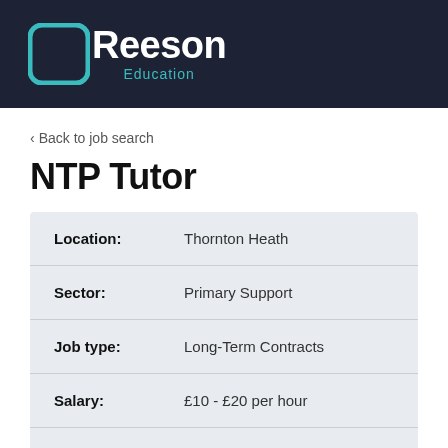[Figure (logo): Reeson Education logo — white text on dark navy background with teal bracket icon]
< Back to job search
NTP Tutor
| Field | Value |
| --- | --- |
| Location: | Thornton Heath |
| Sector: | Primary Support |
| Job type: | Long-Term Contracts |
| Salary: | £10 - £20 per hour |
| Contact: | Carl Cooper |